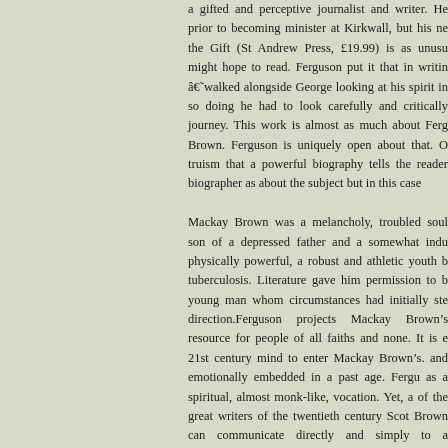a gifted and perceptive journalist and writer. He prior to becoming minister at Kirkwall, but his ne the Gift (St Andrew Press, £19.99) is as unusu might hope to read. Ferguson put it that in writin â€˜walked alongside George looking at his spirit in so doing he had to look carefully and critically journey. This work is almost as much about Ferg Brown. Ferguson is uniquely open about that. O truism that a powerful biography tells the reader biographer as about the subject but in this case

Mackay Brown was a melancholy, troubled soul son of a depressed father and a somewhat indu physically powerful, a robust and athletic youth b tuberculosis. Literature gave him permission to b young man whom circumstances had initially ste direction.Ferguson projects Mackay Brown's resource for people of all faiths and none. It is e 21st century mind to enter Mackay Brown's. and emotionally embedded in a past age. Fergu as a spiritual, almost monk-like, vocation. Yet, a of the great writers of the twentieth century Scot Brown can communicate directly and simply to a readership. There are none of the soaring intelle modernists such as MacDiarmid in Mackay Brow connects with a simpler past, in particular with C